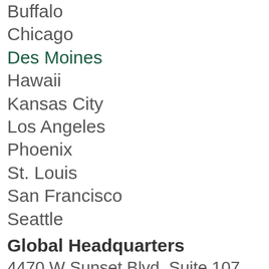Buffalo
Chicago
Des Moines
Hawaii
Kansas City
Los Angeles
Phoenix
St. Louis
San Francisco
Seattle
Global Headquarters
4470 W Sunset Blvd, Suite 107, PMB